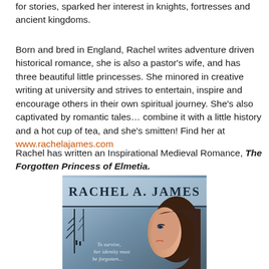for stories, sparked her interest in knights, fortresses and ancient kingdoms.
Born and bred in England, Rachel writes adventure driven historical romance, she is also a pastor's wife, and has three beautiful little princesses. She minored in creative writing at university and strives to entertain, inspire and encourage others in their own spiritual journey. She's also captivated by romantic tales… combine it with a little history and a hot cup of tea, and she's smitten! Find her at www.rachelajames.com
Rachel has written an Inspirational Medieval Romance, The Forgotten Princess of Elmetia.
[Figure (illustration): Book cover for The Forgotten Princess of Elmetia by Rachel A. James, showing a woman's profile with a wintry stone/frost background and text 'To survive, her identity must be forgotten...']